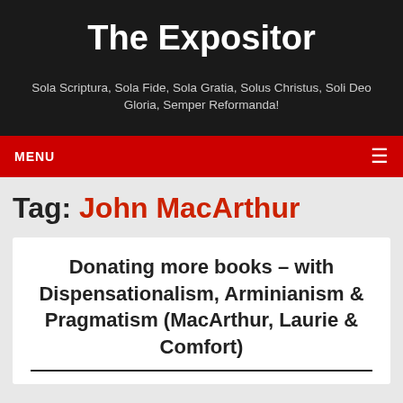The Expositor
Sola Scriptura, Sola Fide, Sola Gratia, Solus Christus, Soli Deo Gloria, Semper Reformanda!
MENU
Tag: John MacArthur
Donating more books – with Dispensationalism, Arminianism & Pragmatism (MacArthur, Laurie & Comfort)